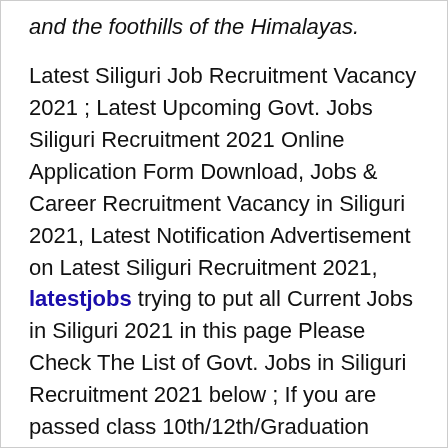and the foothills of the Himalayas.
Latest Siliguri Job Recruitment Vacancy 2021 ; Latest Upcoming Govt. Jobs Siliguri Recruitment 2021 Online Application Form Download, Jobs & Career Recruitment Vacancy in Siliguri 2021, Latest Notification Advertisement on Latest Siliguri Recruitment 2021, latestjobs trying to put all Current Jobs in Siliguri 2021 in this page Please Check The List of Govt. Jobs in Siliguri Recruitment 2021 below ; If you are passed class 10th/12th/Graduation Exam then this page is valuable for you All engineering/medical & others students in Siliguri those are Searching latest jobs in private and govt. sector jobs in Siliguri this is the page you must be looking Every day and Please bookmarked it ; for All the students of Siliguri can get all kind of Upcoming Govt. Job Recruitment Vacancy in Siliguri 2021 like in banking, teaching, engineering, police/defence, SSC/PSC and Latest Government Sector etc.